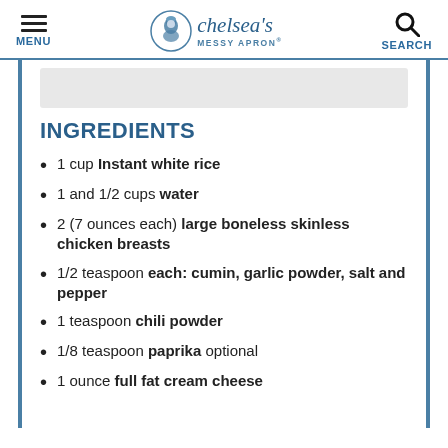MENU | chelsea's MESSY APRON® | SEARCH
INGREDIENTS
1 cup Instant white rice
1 and 1/2 cups water
2 (7 ounces each) large boneless skinless chicken breasts
1/2 teaspoon each: cumin, garlic powder, salt and pepper
1 teaspoon chili powder
1/8 teaspoon paprika optional
1 ounce full fat cream cheese